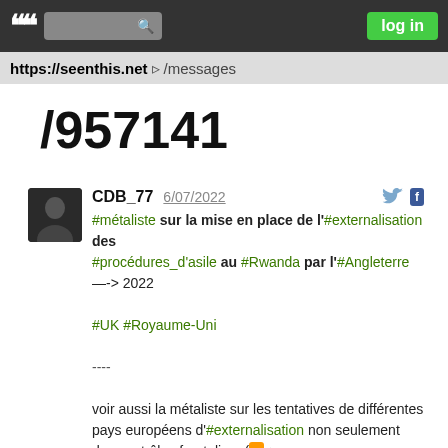https://seenthis.net /messages
/957141
CDB_77  6/07/2022
#métaliste sur la mise en place de l'#externalisation des #procédures_d'asile au #Rwanda par l'#Angleterre
—-> 2022
#UK #Royaume-Uni

----

voir aussi la métaliste sur les tentatives de différentes pays européens d'#externalisation non seulement des contrôles frontaliers ( >> ► seenthis.net/messages/731749 [fr]), mais aussi de la #procédure_d'asile dans des #pays_tiers*
#procédure_d'asile #externalisation_de_la_procédure